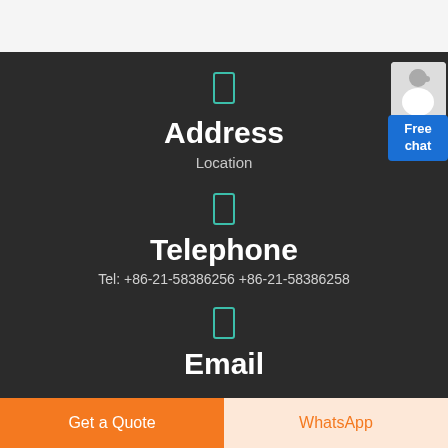Address
Location
Telephone
Tel: +86-21-58386256 +86-21-58386258
Email
[Figure (illustration): Free chat widget with a customer service person illustration and a blue button labeled 'Free chat']
Get a Quote
WhatsApp